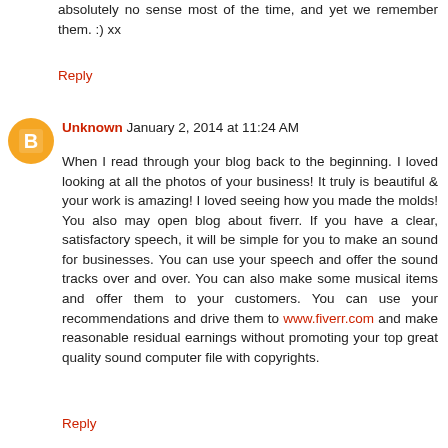absolutely no sense most of the time, and yet we remember them. :) xx
Reply
Unknown January 2, 2014 at 11:24 AM
When I read through your blog back to the beginning. I loved looking at all the photos of your business! It truly is beautiful & your work is amazing! I loved seeing how you made the molds! You also may open blog about fiverr. If you have a clear, satisfactory speech, it will be simple for you to make an sound for businesses. You can use your speech and offer the sound tracks over and over. You can also make some musical items and offer them to your customers. You can use your recommendations and drive them to www.fiverr.com and make reasonable residual earnings without promoting your top great quality sound computer file with copyrights.
Reply